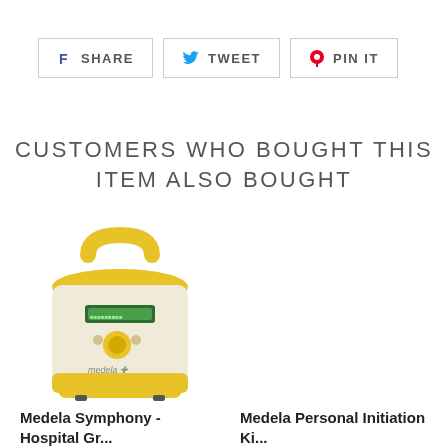[Figure (infographic): Three social sharing buttons: Facebook SHARE, Twitter TWEET, Pinterest PIN IT, each with icon and border]
CUSTOMERS WHO BOUGHT THIS ITEM ALSO BOUGHT
[Figure (photo): Medela Symphony hospital-grade breast pump, yellow and cream colored, with handle on top, display screen, control knob, and medela logo on front]
Medela Symphony - Hospital Gr...
Medela Personal Initiation Ki...